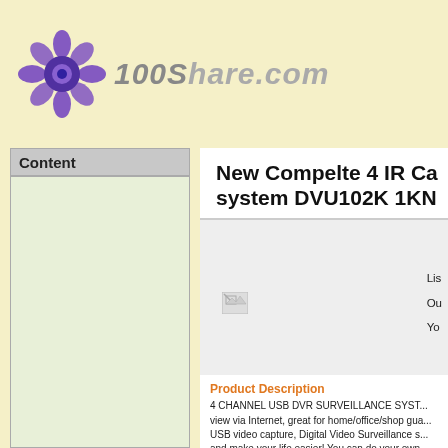[Figure (logo): 100Share.com website logo with purple flower/gear icon and italicized gray site name text]
Content
New Compelte 4 IR Ca... system DVU102K 1KN
Lis...
Ou...
Yo...
[Figure (photo): Broken/missing product image icon]
Product Description
4 CHANNEL USB DVR SURVEILLANCE SYST... view via Internet, great for home/office/shop gua... USB video capture, Digital Video Surveillance s... and make your life easier! You can do your own...